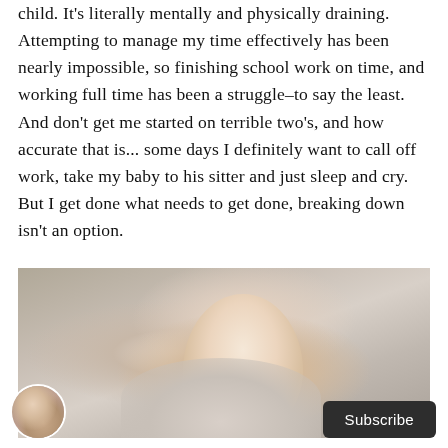child. It's literally mentally and physically draining. Attempting to manage my time effectively has been nearly impossible, so finishing school work on time, and working full time has been a struggle–to say the least. And don't get me started on terrible two's, and how accurate that is... some days I definitely want to call off work, take my baby to his sitter and just sleep and cry. But I get done what needs to get done, breaking down isn't an option.
[Figure (photo): Close-up photo of a young toddler child with a pouty or serious expression, wearing a light gray/cream hoodie. The background appears to be a textured white/gray wall.]
[Figure (photo): Small circular avatar image showing what appears to be a person or couple, used as a profile picture.]
Subscribe